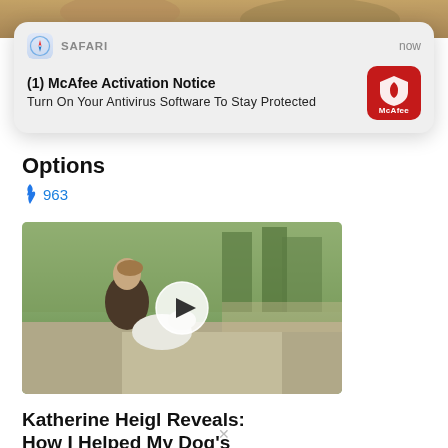[Figure (screenshot): Top portion of a webpage showing a partial image (food/person scene at top)]
[Figure (screenshot): iOS Safari push notification card: '(1) McAfee Activation Notice — Turn On Your Antivirus Software To Stay Protected', with Safari icon, timestamp 'now', and McAfee red shield logo icon]
Options
🔥 963
[Figure (photo): Video thumbnail showing a woman sitting outdoors with a white dog, play button overlay in center]
Katherine Heigl Reveals: How I Helped My Dog's Mobility